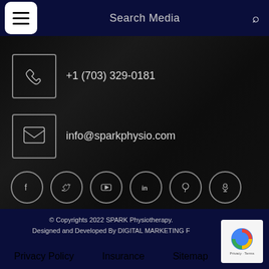Search Media
+1 (703) 329-0181
info@sparkphysio.com
[Figure (infographic): Row of six social media icon circles: Facebook (f), Twitter (bird), YouTube (play), LinkedIn (in), Pinterest (p), Podcast/Spotify (microphone)]
© Copyrights 2022 SPARK Physiotherapy. Designed and Developed By DIGITAL MARKETING F
Privacy Policy   Insurance   Sitemap